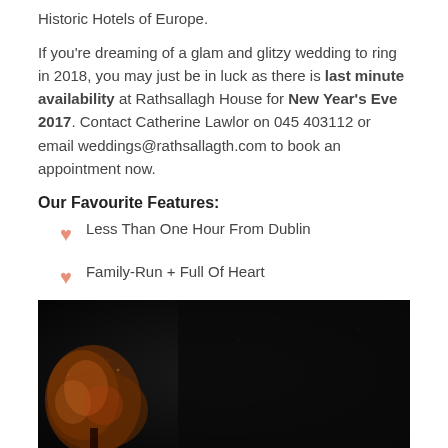Historic Hotels of Europe.
If you're dreaming of a glam and glitzy wedding to ring in 2018, you may just be in luck as there is last minute availability at Rathsallagh House for New Year's Eve 2017. Contact Catherine Lawlor on 045 403112 or email weddings@rathsallagth.com to book an appointment now.
Our Favourite Features:
Less Than One Hour From Dublin
Family-Run + Full Of Heart
Awarded Historic Hotel Wedding Experience for 2017
[Figure (photo): Dark nighttime photo of what appears to be an illuminated tree or foliage against a very dark background]